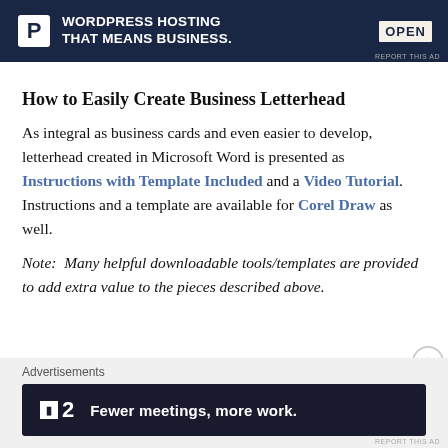[Figure (screenshot): Top advertisement banner: dark navy background with white 'P' logo in a white box, text 'WORDPRESS HOSTING THAT MEANS BUSINESS.' in white bold, and an OPEN sign image on the right. 'REPORT THIS AD' label at bottom right.]
How to Easily Create Business Letterhead
As integral as business cards and even easier to develop, letterhead created in Microsoft Word is presented as Instructions with Template Included and a Video Tutorial. Instructions and a template are available for Corel Draw as well.
Note:  Many helpful downloadable tools/templates are provided to add extra value to the pieces described above.
[Figure (screenshot): Bottom advertisement area: gray background with 'Advertisements' label. Dark navy banner with Flat2 logo and tagline 'Fewer meetings, more work.' in white bold text. 'REPORT THIS AD' at bottom right.]